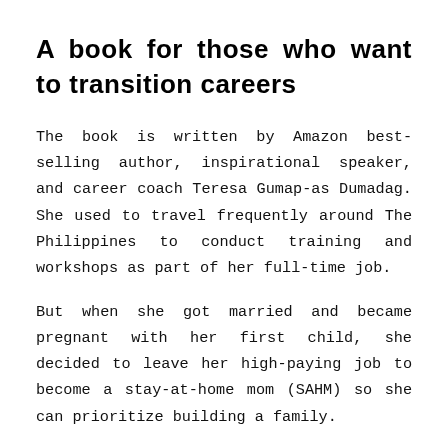A book for those who want to transition careers
The book is written by Amazon best-selling author, inspirational speaker, and career coach Teresa Gumap-as Dumadag. She used to travel frequently around The Philippines to conduct training and workshops as part of her full-time job.
But when she got married and became pregnant with her first child, she decided to leave her high-paying job to become a stay-at-home mom (SAHM) so she can prioritize building a family.